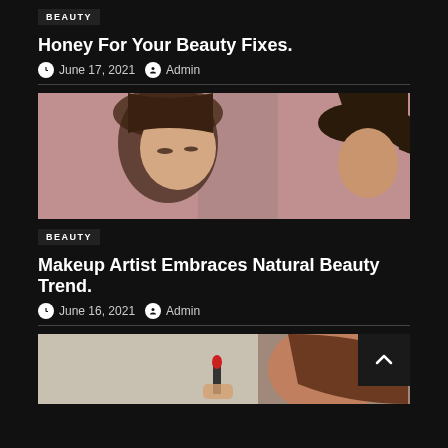BEAUTY
Honey For Your Beauty Fixes.
June 17, 2021  Admin
[Figure (photo): Two women looking downward, standing against a pink background, one with long hair and one with a high ponytail]
BEAUTY
Makeup Artist Embraces Natural Beauty Trend.
June 16, 2021  Admin
[Figure (photo): Woman holding a red lipstick near her face with blurred background, scroll-to-top button visible]